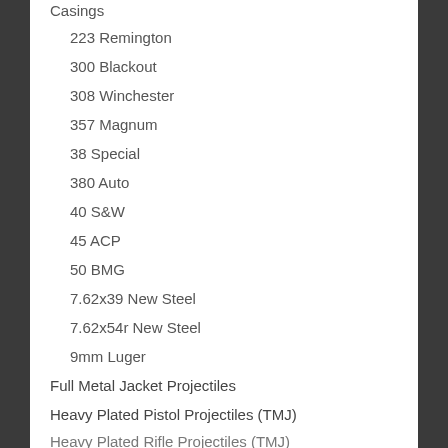Casings
223 Remington
300 Blackout
308 Winchester
357 Magnum
38 Special
380 Auto
40 S&W
45 ACP
50 BMG
7.62x39 New Steel
7.62x54r New Steel
9mm Luger
Full Metal Jacket Projectiles
Heavy Plated Pistol Projectiles (TMJ)
Heavy Plated Rifle Projectiles (TMJ)